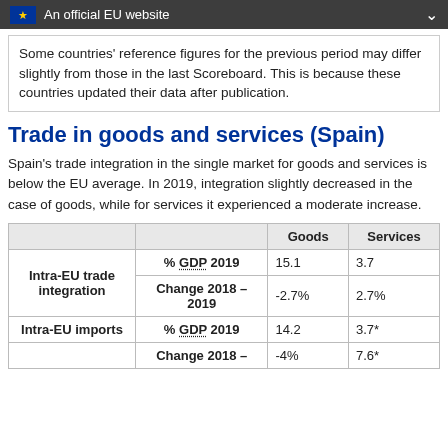An official EU website
Some countries' reference figures for the previous period may differ slightly from those in the last Scoreboard. This is because these countries updated their data after publication.
Trade in goods and services (Spain)
Spain's trade integration in the single market for goods and services is below the EU average. In 2019, integration slightly decreased in the case of goods, while for services it experienced a moderate increase.
|  |  | Goods | Services |
| --- | --- | --- | --- |
| Intra-EU trade integration | % GDP 2019 | 15.1 | 3.7 |
|  | Change 2018 – 2019 | -2.7% | 2.7% |
| Intra-EU imports | % GDP 2019 | 14.2 | 3.7* |
|  | Change 2018 – | -4% | 7.6* |